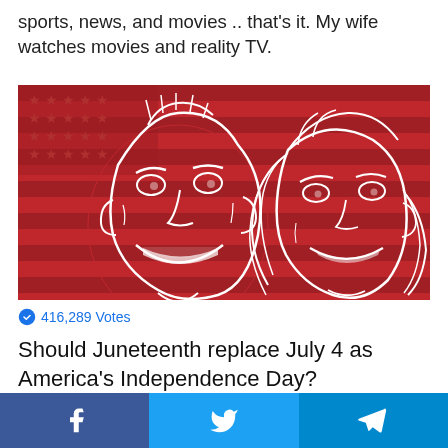sports, news, and movies .. that's it. My wife watches movies and reality TV.
[Figure (illustration): Red background illustration of two cartoon/line-art faces (a man and a woman) in white lines over a red American flag backdrop with stars and stripes]
416,289 Votes
Should Juneteenth replace July 4 as America's Independence Day?
[Figure (other): Social media sharing bar with Facebook, Twitter, and Telegram buttons]